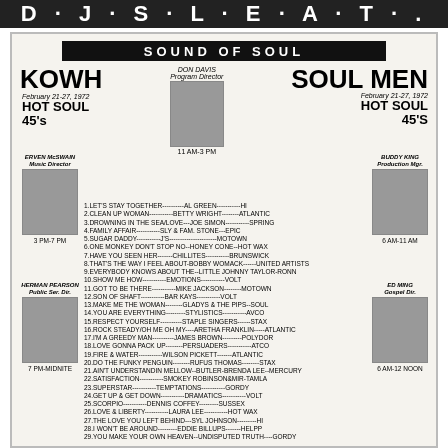...
SOUND OF SOUL
KOWH   SOUL MEN
February 21-27, 1972   HOT SOUL 45's
DON DAVIS Program Director  11 AM-3 PM
ERVEN McSWAIN Music Director  3 PM-7 PM
BUDDY KING Production Mgr.  6 AM-11 AM
HERMAN PEARSON Public Ser. Dir.  7 PM-MIDNITE
ED MING Gospel Dir.  6 AM-12 NOON
1.LET'S STAY TOGETHER---------AL GREEN-----------HI
2.CLEAN UP WOMAN-----------BETTY WRIGHT--------ATLANTIC
3.DROWNING IN THE SEA/LOVE---JOE SIMON-----------SPRING
4.FAMILY AFFAIR-----------SLY & FAM. STONE---EPIC
5.SUGAR DADDY-----------J'S-----------MOTOWN
6.ONE MONKEY DON'T STOP NO--HONEY CONE--HOT WAX
7.HAVE YOU SEEN HER-------CHILLITES-----------BRUNSWICK
8.THAT'S THE WAY I FEEL ABOUT-BOBBY WOMACK------UNITED ARTISTS
9.EVERYBODY KNOWS ABOUT THE--LITTLE JOHNNY TAYLOR-RONN
10.SHOW ME HOW-----------EMOTIONS-----------VOLT
11.GOT TO BE THERE-----------MIKE JACKSON--------MOTOWN
12.SON OF SHAFT-----------BAR KAYS-----------VOLT
13.MAKE ME THE WOMAN--------GLADYS & THE PIPS--SOUL
14.YOU ARE EVERYTHING---------STYLISTICS-----------AVCO
15.RESPECT YOURSELF----------STAPLE SINGERS------STAX
16.ROCK STEADY/OH ME OH MY----ARETHA FRANKLIN-----ATLANTIC
17.I'M A GREEDY MAN----------JAMES BROWN---------POLYDOR
18.LOVE GONNA PACK UP--------PERSUADERS-----------ATCO
19.FIRE & WATER-----------WILSON PICKETT-------ATLANTIC
20.DO THE FUNKY PENGUIN--------RUFUS THOMAS--------STAX
21.AIN'T UNDERSTANDIN MELLOW--BUTLER-BRENDA LEE--MERCURY
22.SATISFACTION-----------SMOKEY ROBINSON&MIR-TAMLA
23.SUPERSTAR-----------TEMPTATIONS-----------GORDY
24.GET UP & GET DOWN-----------DRAMATICS-----------VOLT
25.SCORPIO-----------DENNIS COFFEY---------SUSSEX
26.LOVE & LIBERTY-----------LAURA LEE-----------HOT WAX
27.THE LOVE YOU LEFT BEHIND---SYL JOHNSON---------HI
28.I WON'T BE AROUND---------EDDIE BILLUPS-------HELPP
29.YOU MAKE YOUR OWN HEAVEN--UNDISPUTED TRUTH----GORDY